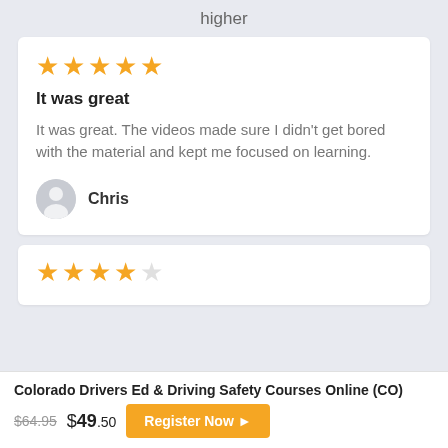higher
It was great
It was great. The videos made sure I didn't get bored with the material and kept me focused on learning.
Chris
4 out of 5 stars
Colorado Drivers Ed & Driving Safety Courses Online (CO)
$64.95 $49.50 Register Now